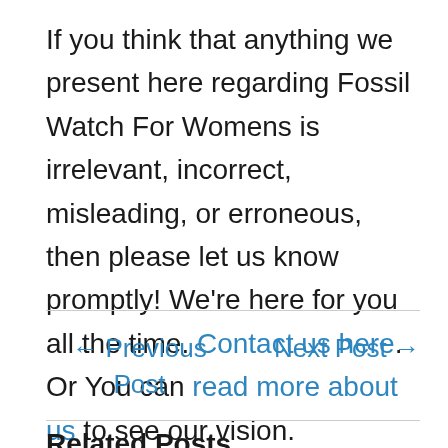If you think that anything we present here regarding Fossil Watch For Womens is irrelevant, incorrect, misleading, or erroneous, then please let us know promptly! We're here for you all the time. Contact us here. Or You can read more about us to see our vision.
← Previous Post
Next Post →
Related Posts